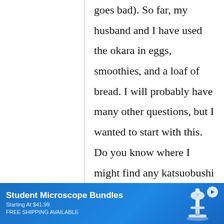goes bad). So far, my husband and I have used the okara in eggs, smoothies, and a loaf of bread. I will probably have many other questions, but I wanted to start with this. Do you know where I might find any katsuobushi in the US, rather than dried bonito
[Figure (other): Advertisement banner: Student Microscope Bundles, Starting At $41.99, FREE SHIPPING AVAILABLE, with microscope image and play button icon]